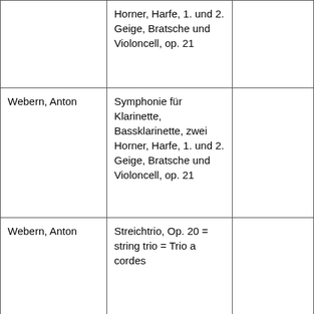|  | Horner, Harfe, 1. und 2. Geige, Bratsche und Violoncell, op. 21 |  |
| Webern, Anton | Symphonie für Klarinette, Bassklarinette, zwei Horner, Harfe, 1. und 2. Geige, Bratsche und Violoncell, op. 21 |  |
| Webern, Anton | Streichtrio, Op. 20 = string trio = Trio a cordes |  |
| Webern, Anton | Fünf Canons nach |  |